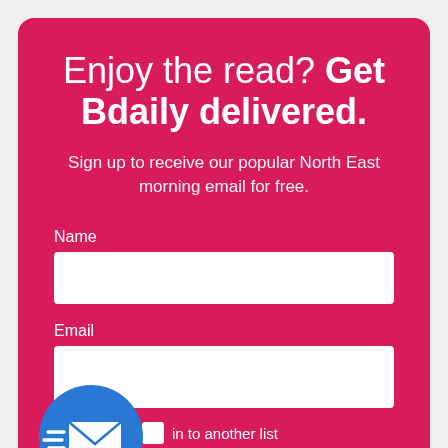Enjoy the read? Get Bdaily delivered.
Sign up to receive our popular North East morning email for free.
Name
Email
in to another list
[Figure (illustration): Blue circle with white envelope/mail icon with motion lines suggesting speed]